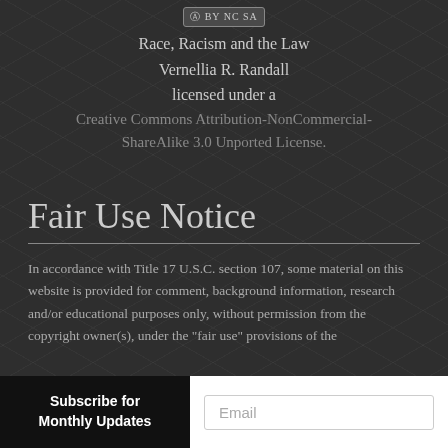[Figure (logo): Creative Commons BY NC SA license badge]
Race, Racism and the Law
Vernellia R. Randall
licensed under a
Creative Commons Attribution-NonCommercial-ShareAlike 3.0 Unported License.
Fair Use Notice
In accordance with Title 17 U.S.C. section 107, some material on this website is provided for comment, background information, research and/or educational purposes only, without permission from the copyright owner(s), under the "fair use" provisions of the
Subscribe for Monthly Updates
Email